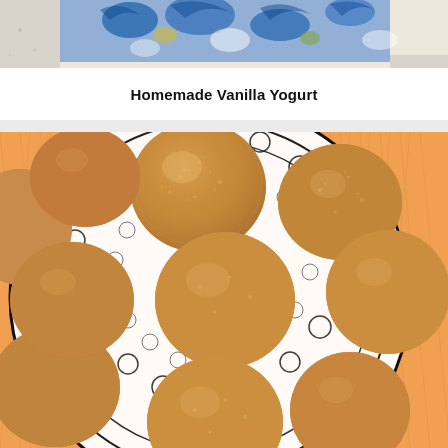[Figure (photo): Top portion of a food photograph showing a decorative blue and white floral fabric/cloth in the upper portion of the frame, partially visible at the top edge.]
Homemade Vanilla Yogurt
[Figure (photo): Close-up overhead photograph of sugar-coated donut holes or fried dough balls arranged on a decorative black and white patterned plate/tray, with an orange herringbone-patterned cloth/napkin visible in the background.]